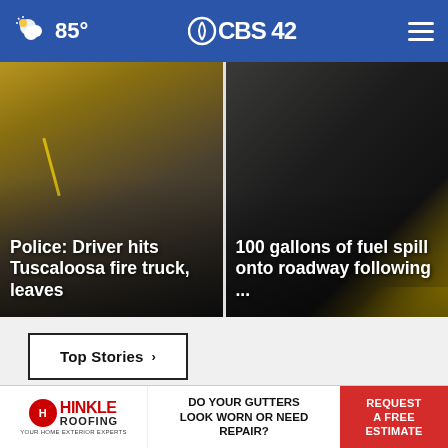85° CBS 42
[Figure (screenshot): News card showing road scene with headline: Police: Driver hits Tuscaloosa fire truck, leaves]
[Figure (screenshot): News card showing road with spilled fuel, headline: 100 gallons of fuel spill onto roadway following ...]
Top Stories ›
[Figure (infographic): Advertisement banner: EXPERIENCED ATTORNEYS with close button]
[Figure (infographic): Hinkle Roofing ad: DO YOUR GUTTERS LOOK WORN OR NEED REPAIR? REQUEST A FREE ESTIMATE]